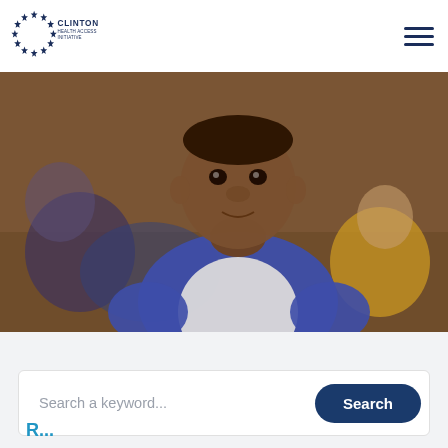[Figure (logo): Clinton Health Access Initiative logo with stars arranged in a circle and organization name]
[Figure (photo): A young African child in a blue and white raglan shirt looking at the camera, with other children blurred in the background, in what appears to be a school or community setting]
Search a keyword...
Search
R...